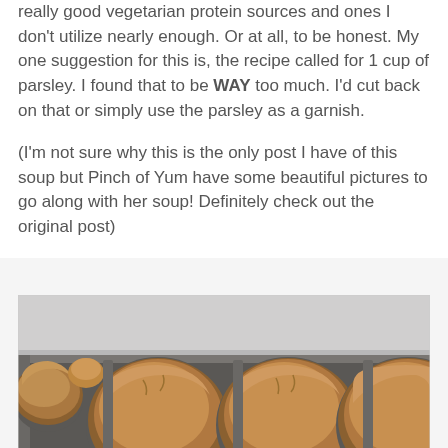really good vegetarian protein sources and ones I don't utilize nearly enough. Or at all, to be honest. My one suggestion for this is, the recipe called for 1 cup of parsley. I found that to be WAY too much. I'd cut back on that or simply use the parsley as a garnish.
(I'm not sure why this is the only post I have of this soup but Pinch of Yum have some beautiful pictures to go along with her soup! Definitely check out the original post)
[Figure (photo): Photo of baked muffins in a dark muffin tin, partially cropped, showing cracked golden-brown tops. White surface visible in the background.]